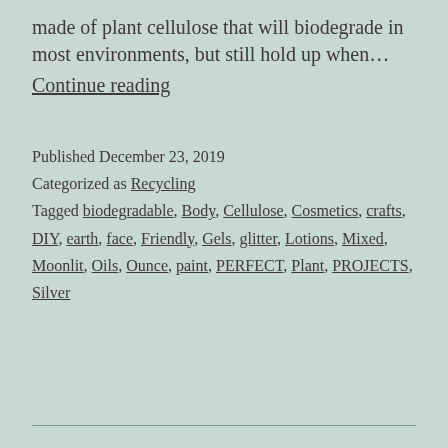made of plant cellulose that will biodegrade in most environments, but still hold up when…
Continue reading
Published December 23, 2019
Categorized as Recycling
Tagged biodegradable, Body, Cellulose, Cosmetics, crafts, DIY, earth, face, Friendly, Gels, glitter, Lotions, Mixed, Moonlit, Oils, Ounce, paint, PERFECT, Plant, PROJECTS, Silver